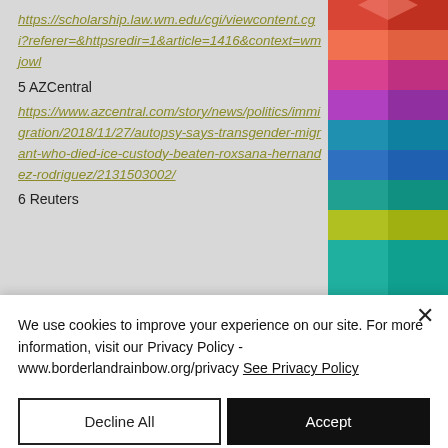https://scholarship.law.wm.edu/cgi/viewcontent.cgi?referer=&httpsredir=1&article=1416&context=wmjowl
5 AZCentral
https://www.azcentral.com/story/news/politics/immigration/2018/11/27/autopsy-says-transgender-migrant-who-died-ice-custody-beaten-roxsana-hernandez-rodriguez/2131503002/
6 Reuters
We use cookies to improve your experience on our site. For more information, visit our Privacy Policy - www.borderlandrainbow.org/privacy See Privacy Policy
Decline All
Accept
Cookie Settings